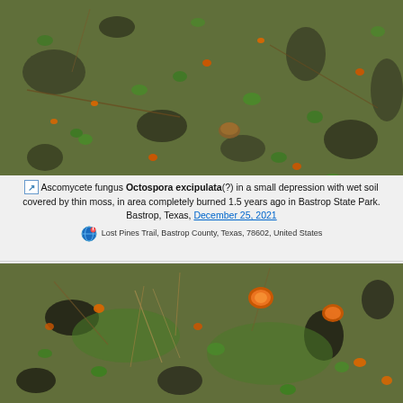[Figure (photo): Close-up photograph of wet mossy ground with small green plants, black charred debris/wood, and orange-red small fungal cups (Octospora excipulata) scattered throughout. Ground shows post-fire recovery vegetation in Bastrop State Park.]
Ascomycete fungus Octospora excipulata(?) in a small depression with wet soil covered by thin moss, in area completely burned 1.5 years ago in Bastrop State Park. Bastrop, Texas, December 25, 2021
Lost Pines Trail, Bastrop County, Texas, 78602, United States
[Figure (photo): Second close-up photograph of similar mossy ground with green moss, dry grass/pine needles, and distinctly visible orange-red Octospora excipulata fungal cups on and among the moss. Post-fire recovery ground cover at Bastrop State Park.]